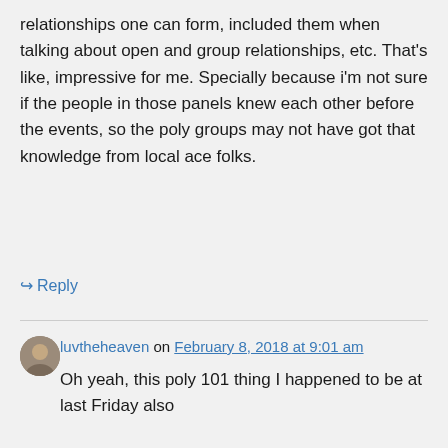relationships one can form, included them when talking about open and group relationships, etc. That's like, impressive for me. Specially because i'm not sure if the people in those panels knew each other before the events, so the poly groups may not have got that knowledge from local ace folks.
↪ Reply
luvtheheaven on February 8, 2018 at 9:01 am
Oh yeah, this poly 101 thing I happened to be at last Friday also